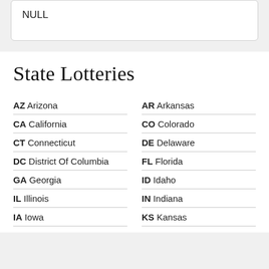NULL
State Lotteries
AZ Arizona
AR Arkansas
CA California
CO Colorado
CT Connecticut
DE Delaware
DC District Of Columbia
FL Florida
GA Georgia
ID Idaho
IL Illinois
IN Indiana
IA Iowa
KS Kansas